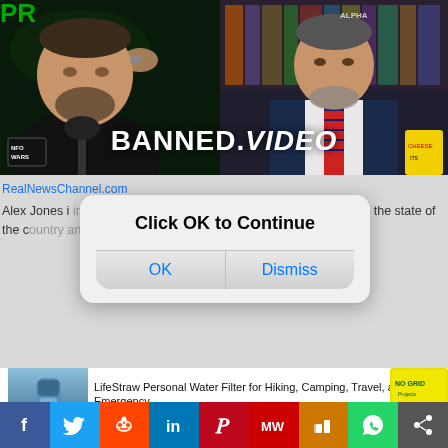[Figure (screenshot): Screenshot of a webpage showing a BANNED.VIDEO video with two people, overlaid by an iOS-style dialog box saying 'Click OK to Continue' with OK and Dismiss buttons, and below is an Amazon ad for LifeStraw water filter, with social sharing buttons at the bottom.]
RealNewsChannel.com
Alex Jones interviews Constitutional Lawyer Robert Barnes about the state of the country and what we need to turn things around
Click OK to Continue
OK
Dismiss
LifeStraw Personal Water Filter for Hiking, Camping, Travel, and Emergency…
$14.99
prime